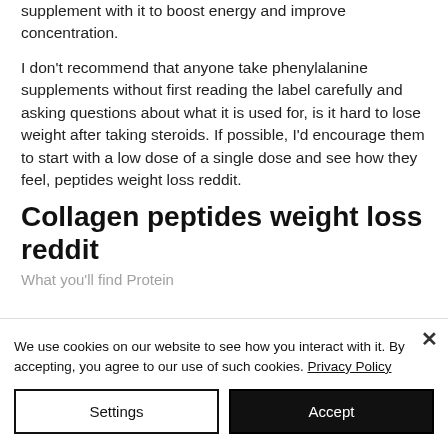supplement with it to boost energy and improve concentration.
I don't recommend that anyone take phenylalanine supplements without first reading the label carefully and asking questions about what it is used for, is it hard to lose weight after taking steroids. If possible, I'd encourage them to start with a low dose of a single dose and see how they feel, peptides weight loss reddit.
Collagen peptides weight loss reddit
What you'll find Protein...
We use cookies on our website to see how you interact with it. By accepting, you agree to our use of such cookies. Privacy Policy
Settings
Accept